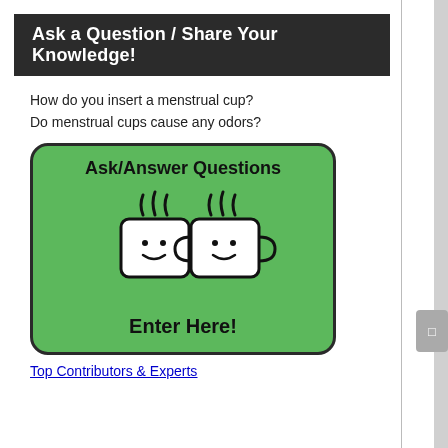Ask a Question / Share Your Knowledge!
How do you insert a menstrual cup?
Do menstrual cups cause any odors?
[Figure (illustration): Green rounded rectangle button with two cartoon coffee cups with steam, labeled 'Ask/Answer Questions' at top and 'Enter Here!' at bottom]
Top Contributors & Experts